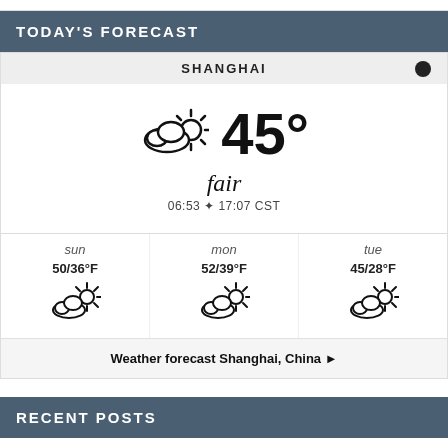TODAY'S FORECAST
SHANGHAI
[Figure (infographic): Weather widget showing 45° fair weather in Shanghai with cloud/sun icon, sunrise 06:53, sunset 17:07 CST, and 3-day forecast: sun 50/36°F partly cloudy, mon 52/39°F partly cloudy, tue 45/28°F partly cloudy]
Weather forecast Shanghai, China ►
RECENT POSTS
United Way of Southwest Colorado hosts 23rd